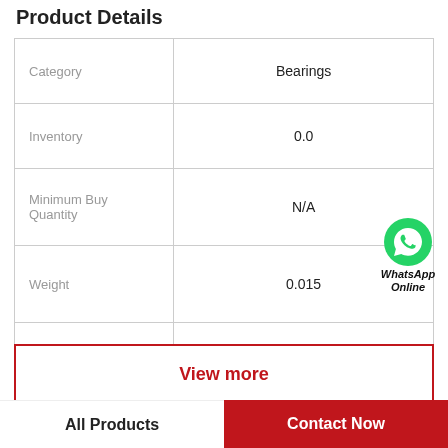Product Details
|  |  |
| --- | --- |
| Category | Bearings |
| Inventory | 0.0 |
| Minimum Buy Quantity | N/A |
| Weight | 0.015 |
| Product Group | B04264 |
[Figure (logo): WhatsApp Online green phone icon with text 'WhatsApp Online']
View more
Company Profile
All Products
Contact Now